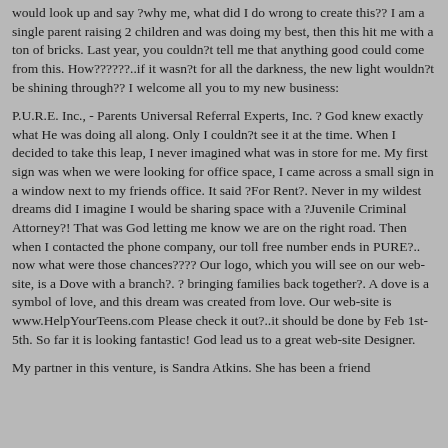would look up and say ?why me, what did I do wrong to create this?? I am a single parent raising 2 children and was doing my best, then this hit me with a ton of bricks. Last year, you couldn?t tell me that anything good could come from this. How??????..if it wasn?t for all the darkness, the new light wouldn?t be shining through?? I welcome all you to my new business:
P.U.R.E. Inc., - Parents Universal Referral Experts, Inc. ? God knew exactly what He was doing all along. Only I couldn?t see it at the time. When I decided to take this leap, I never imagined what was in store for me. My first sign was when we were looking for office space, I came across a small sign in a window next to my friends office. It said ?For Rent?. Never in my wildest dreams did I imagine I would be sharing space with a ?Juvenile Criminal Attorney?! That was God letting me know we are on the right road. Then when I contacted the phone company, our toll free number ends in PURE?.. now what were those chances???? Our logo, which you will see on our web-site, is a Dove with a branch?. ? bringing families back together?. A dove is a symbol of love, and this dream was created from love. Our web-site is www.HelpYourTeens.com Please check it out?..it should be done by Feb 1st- 5th. So far it is looking fantastic! God lead us to a great web-site Designer.
My partner in this venture, is Sandra Atkins. She has been a friend